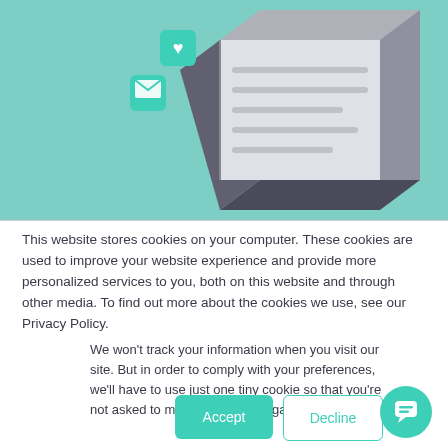[Figure (illustration): Isometric illustration of a smartphone with teal/mint background, showing notification icons (teal squares with envelope and heart icons) floating above the phone, and the phone screen displaying horizontal lines suggesting content.]
This website stores cookies on your computer. These cookies are used to improve your website experience and provide more personalized services to you, both on this website and through other media. To find out more about the cookies we use, see our Privacy Policy.
We won't track your information when you visit our site. But in order to comply with your preferences, we'll have to use just one tiny cookie so that you're not asked to make this choice again.